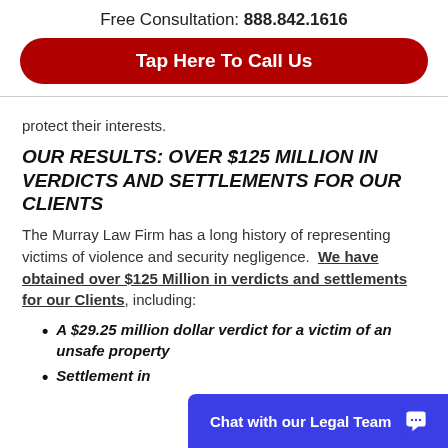Free Consultation: 888.842.1616
[Figure (other): Red rounded button with white text: Tap Here To Call Us]
protect their interests.
OUR RESULTS: OVER $125 MILLION IN VERDICTS AND SETTLEMENTS FOR OUR CLIENTS
The Murray Law Firm has a long history of representing victims of violence and security negligence.  We have obtained over $125 Million in verdicts and settlements for our Clients, including:
A $29.25 million dollar verdict for a victim of an unsafe property
Settlement in
[Figure (other): Blue chat widget bar at bottom right: Chat with our Legal Team with chat bubble icon]